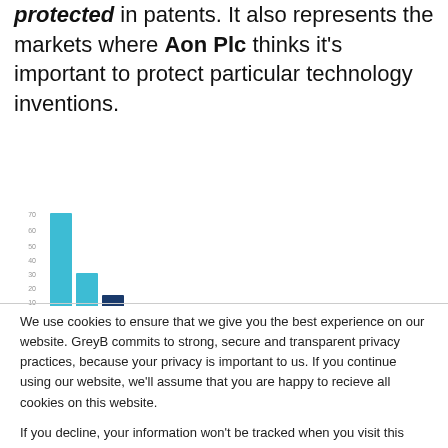protected in patents. It also represents the markets where Aon Plc thinks it's important to protect particular technology inventions.
[Figure (bar-chart): Partially visible bar chart showing patent-related data, with axis labels blurred. Teal and dark blue bars visible.]
We use cookies to ensure that we give you the best experience on our website. GreyB commits to strong, secure and transparent privacy practices, because your privacy is important to us. If you continue using our website, we'll assume that you are happy to recieve all cookies on this website.

If you decline, your information won't be tracked when you visit this website. A single cookie will be used in your browser to remember your preference not to be tracked.